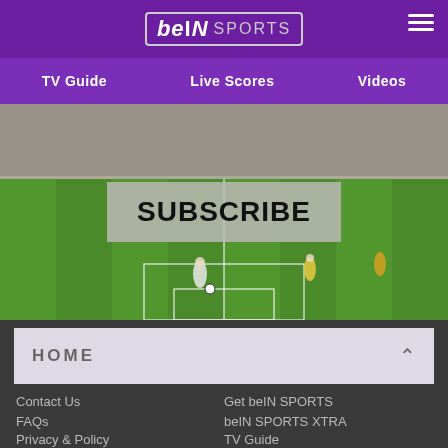[Figure (logo): beIN SPORTS logo in header with purple background]
TV Guide    Live Scores    Videos
[Figure (photo): Soccer match stadium photo with SUBSCRIBE button overlay]
HOME
Contact Us
Get beIN SPORTS
FAQs
beIN SPORTS XTRA
Privacy & Policy
TV Guide
Terms & Conditions
Affiliates
beIN SPORTS en Español
beIN MEDIA GROUP